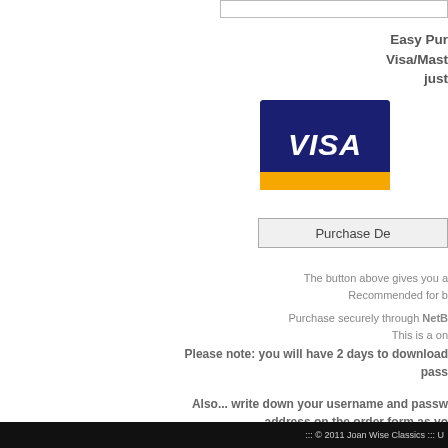Easy Pur... Visa/Mast... just...
[Figure (logo): VISA credit card logo with blue background and orange stripe at bottom]
Purchase De...
The button above gives you a... Recommended for b...
Purchase securely through NetB... This is a on...
Please note: you will have 2 days to download... pass...
Also... write down your username and passw... address on the order form as yo...
::: © 2011 Joan Wise Classics ::: U...